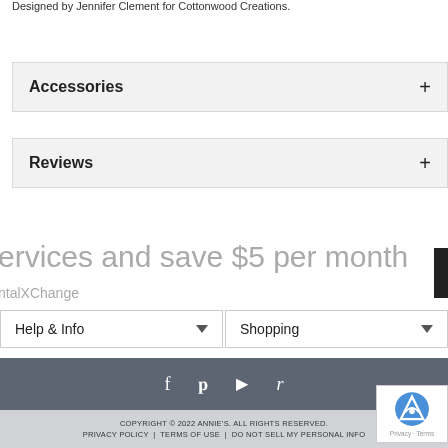Designed by Jennifer Clement for Cottonwood Creations.
Accessories +
Reviews +
ervices and save $5 per month
ntalXChange
Help & Info
Shopping
COPYRIGHT © 2022 ANNIE'S. ALL RIGHTS RESERVED. PRIVACY POLICY | TERMS OF USE | DO NOT SELL MY PERSONAL INFO